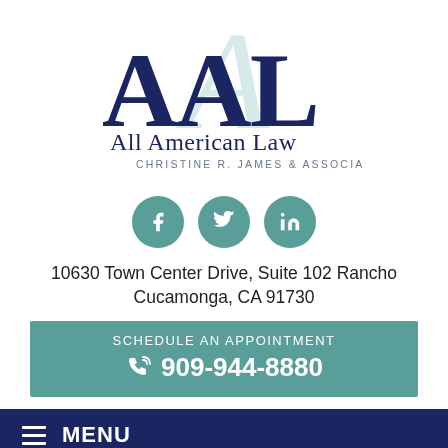[Figure (logo): AAL All American Law - Christine R. James & Associates logo with large dark blue AAL letters and light teal italic script overlay]
[Figure (infographic): Three teal circular social media icons: Facebook (f), Twitter (bird), LinkedIn (in)]
10630 Town Center Drive, Suite 102 Rancho Cucamonga, CA 91730
SCHEDULE AN APPOINTMENT
909-944-8880
MENU
[Figure (photo): Bottom strip showing partial image of a mother and child]